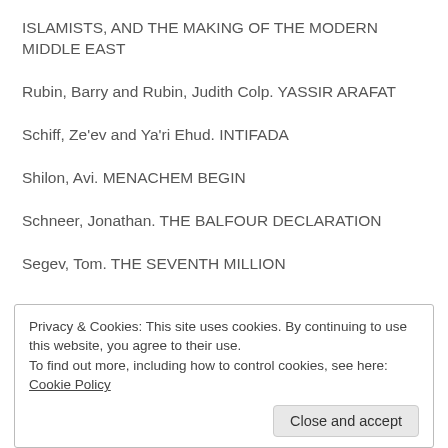ISLAMISTS, AND THE MAKING OF THE MODERN MIDDLE EAST
Rubin, Barry and Rubin, Judith Colp. YASSIR ARAFAT
Schiff, Ze'ev and Ya'ri Ehud. INTIFADA
Shilon, Avi. MENACHEM BEGIN
Schneer, Jonathan. THE BALFOUR DECLARATION
Segev, Tom. THE SEVENTH MILLION
Privacy & Cookies: This site uses cookies. By continuing to use this website, you agree to their use.
To find out more, including how to control cookies, see here: Cookie Policy
Close and accept